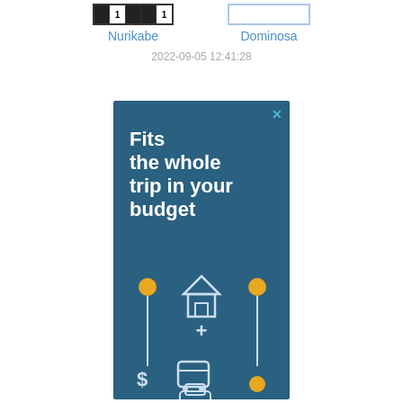[Figure (other): Nurikabe puzzle grid — small grid with black and numbered white cells, partially visible at top]
Nurikabe
[Figure (other): Dominosa puzzle box — empty bordered rectangle]
Dominosa
2022-09-05 12:41:28
[Figure (infographic): Advertisement: 'Fits the whole trip in your budget' on dark blue background with travel icons — house, bus, car, dollar sign, pin markers in yellow/white]